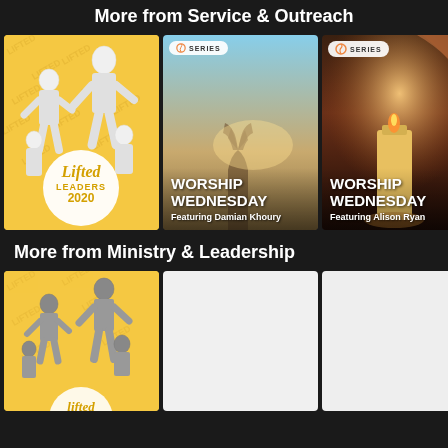More from Service & Outreach
[Figure (photo): Lifted Leaders 2020 card with yellow background showing illustrated band members and circular badge]
[Figure (photo): Worship Wednesday featuring Damian Khoury - photo of hand reaching toward light]
[Figure (photo): Worship Wednesday featuring Alison Ryan - photo of candles with warm glow]
[Figure (photo): Partially visible fourth card]
More from Ministry & Leadership
[Figure (photo): Lifted Leaders 2020 card with yellow background showing illustrated band members]
[Figure (photo): Blank white card placeholder]
[Figure (photo): Blank white card placeholder]
[Figure (photo): Partially visible white card]